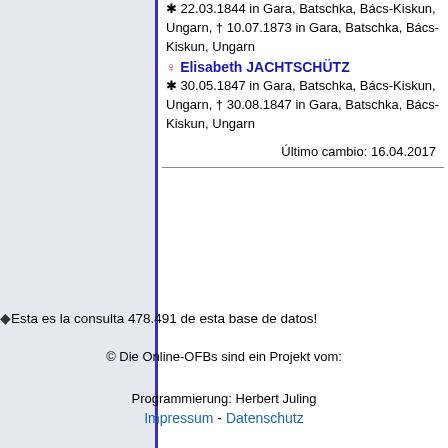* 22.03.1844 in Gara, Batschka, Bács-Kiskun, Ungarn, † 10.07.1873 in Gara, Batschka, Bács-Kiskun, Ungarn
♀ Elisabeth JACHTSCHÜTZ * 30.05.1847 in Gara, Batschka, Bács-Kiskun, Ungarn, † 30.08.1847 in Gara, Batschka, Bács-Kiskun, Ungarn
Último cambio: 16.04.2017
♦Esta es la consulta 478.491 de esta base de datos!
© Die Online-OFBs sind ein Projekt vom:
Programmierung: Herbert Juling
Impressum - Datenschutz